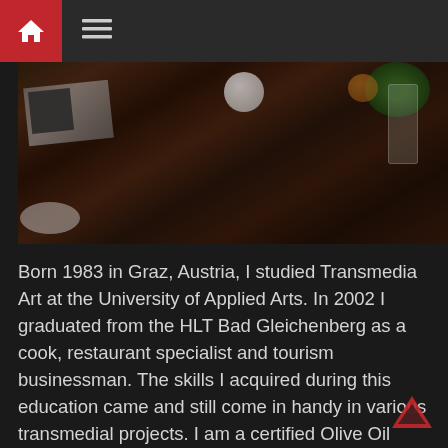[Figure (photo): Top navigation bar with red home icon button and hamburger menu icon on dark background]
[Figure (photo): Dark restaurant table scene with a magazine, white plate, glass vase with green plants, white sphere, and orange/fruit visible on a dark wooden surface]
Born 1983 in Graz, Austria, I studied Transmedia Art at the University of Applied Arts. In 2002 I graduated from the HLT Bad Gleichenberg as a cook, restaurant specialist and tourism businessman. The skills I acquired during this education came and still come in handy in various transmedial projects. I am a certified Olive Oil Expert, I worked as artistic director, chef and managing director of the "Migrating Kitchen" from 2015 to 2018.
The basis of my work was the preoccupation with processes, movement or movement sequences, swarm